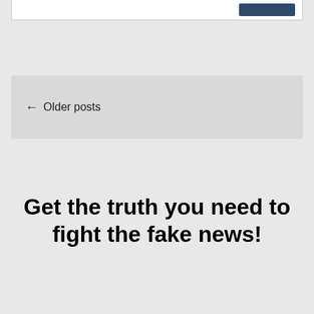[Figure (screenshot): Top portion of a webpage card showing a partial heading and a dark blue button in the upper right corner]
← Older posts
Get the truth you need to fight the fake news!